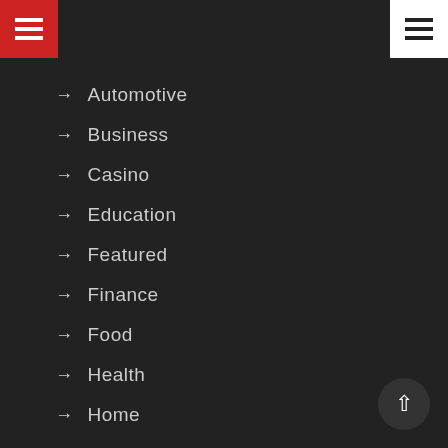[Figure (other): Red hamburger menu button in top-left corner]
[Figure (other): White hamburger menu button in top-right corner]
Automotive
Business
Casino
Education
Featured
Finance
Food
Health
Home
Law
News
Pet
Real-Estate
Shopping